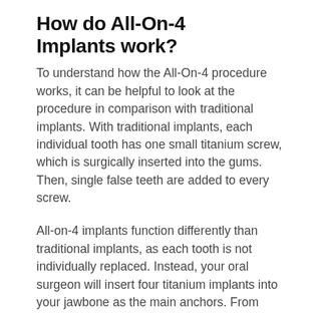How do All-On-4 Implants work?
To understand how the All-On-4 procedure works, it can be helpful to look at the procedure in comparison with traditional implants. With traditional implants, each individual tooth has one small titanium screw, which is surgically inserted into the gums. Then, single false teeth are added to every screw.
All-on-4 implants function differently than traditional implants, as each tooth is not individually replaced. Instead, your oral surgeon will insert four titanium implants into your jawbone as the main anchors. From there, they can then attach a